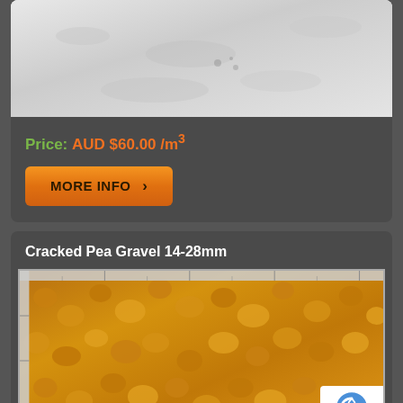[Figure (photo): Close-up photo of white/light grey sand or powder material]
Price: AUD $60.00 /m³
MORE INFO ›
Cracked Pea Gravel 14-28mm
[Figure (photo): Close-up photo of cracked pea gravel 14-28mm, orange-brown colored stones, with SoilYourself.com.au watermark and reCAPTCHA badge]